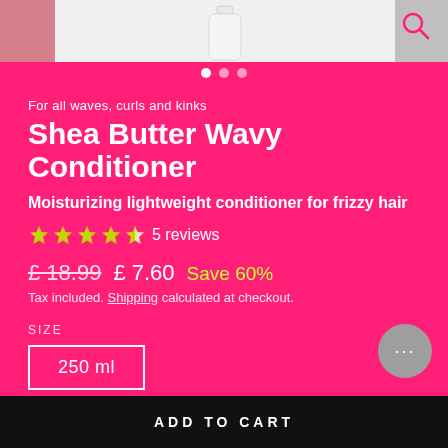[Figure (screenshot): Top image strip showing product images carousel — white conditioner bottle in center, pink background left, grey/white right, search icon top right]
For all waves, curls and kinks
Shea Butter Wavy Conditioner
Moisturizing lightweight conditioner for frizzy hair
★★★★½ 5 reviews
£ 18.99  £ 7.60  Save 60%
Tax included. Shipping calculated at checkout.
SIZE
250 ml
ADD TO CART